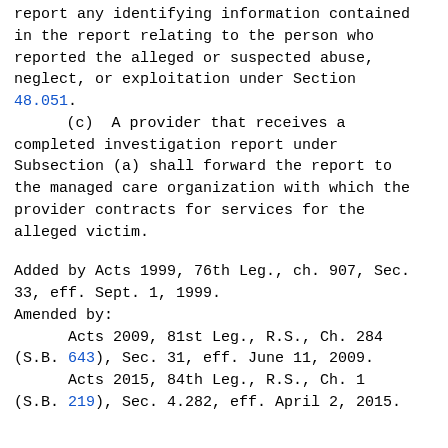report any identifying information contained in the report relating to the person who reported the alleged or suspected abuse, neglect, or exploitation under Section 48.051.
      (c)  A provider that receives a completed investigation report under Subsection (a) shall forward the report to the managed care organization with which the provider contracts for services for the alleged victim.
Added by Acts 1999, 76th Leg., ch. 907, Sec. 33, eff. Sept. 1, 1999.
Amended by:
      Acts 2009, 81st Leg., R.S., Ch. 284 (S.B. 643), Sec. 31, eff. June 11, 2009.
      Acts 2015, 84th Leg., R.S., Ch. 1 (S.B. 219), Sec. 4.282, eff. April 2, 2015.